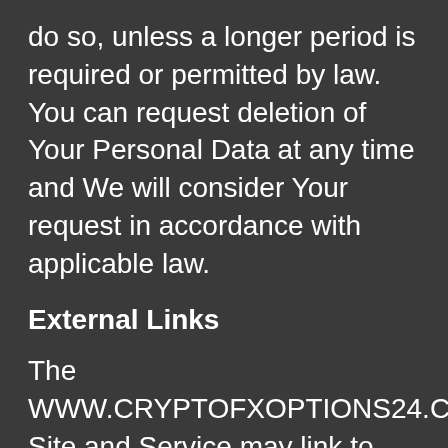do so, unless a longer period is required or permitted by law. You can request deletion of Your Personal Data at any time and We will consider Your request in accordance with applicable law.
External Links
The WWW.CRYPTOFXOPTIONS24.COM Site and Service may link to other websites or services. Other websites may also contain links to the WWW.CRYPTOFXOPTIONS24.COM Site or Service. WWW.CRYPTOFXOPTIONS24.COM